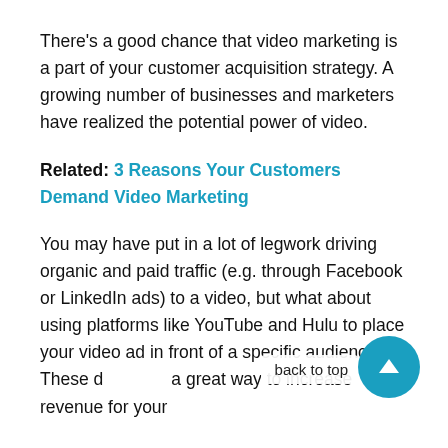There's a good chance that video marketing is a part of your customer acquisition strategy. A growing number of businesses and marketers have realized the potential power of video.
Related: 3 Reasons Your Customers Demand Video Marketing
You may have put in a lot of legwork driving organic and paid traffic (e.g. through Facebook or LinkedIn ads) to a video, but what about using platforms like YouTube and Hulu to place your video ad in front of a specific audience? These d great way to increase revenue for your